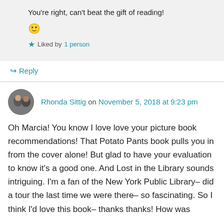You're right, can't beat the gift of reading! 🙂
★ Liked by 1 person
↪ Reply
Rhonda Sittig on November 5, 2018 at 9:23 pm
Oh Marcia! You know I love love your picture book recommendations! That Potato Pants book pulls you in from the cover alone! But glad to have your evaluation to know it's a good one. And Lost in the Library sounds intriguing. I'm a fan of the New York Public Library– did a tour the last time we were there– so fascinating. So I think I'd love this book– thanks thanks! How was…